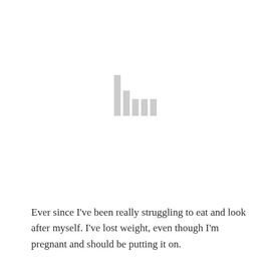[Figure (other): A loading/buffering icon made of vertical grey bars of varying heights, centered on the page]
Ever since I've been really struggling to eat and look after myself. I've lost weight, even though I'm pregnant and should be putting it on.